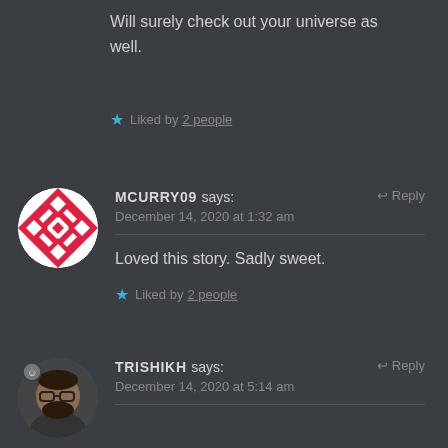Will surely check out your universe as well.
★ Liked by 2 people
MCURRY09 says:
December 14, 2020 at 1:32 am
Loved this story. Sadly sweet.
★ Liked by 2 people
TRISHIKH says:
December 14, 2020 at 5:14 am